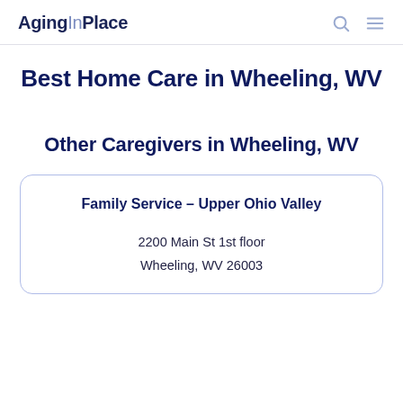AgingInPlace
Best Home Care in Wheeling, WV
Other Caregivers in Wheeling, WV
Family Service - Upper Ohio Valley
2200 Main St 1st floor
Wheeling, WV 26003